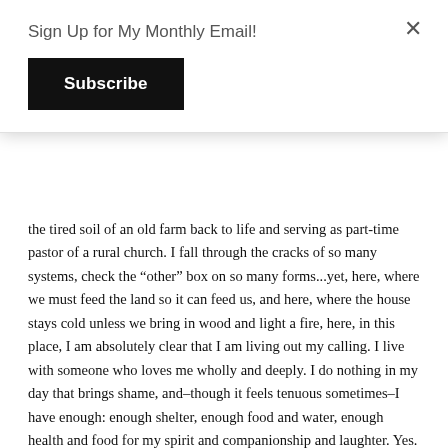Sign Up for My Monthly Email!
Subscribe
the tired soil of an old farm back to life and serving as part-time pastor of a rural church. I fall through the cracks of so many systems, check the “other” box on so many forms...yet, here, where we must feed the land so it can feed us, and here, where the house stays cold unless we bring in wood and light a fire, here, in this place, I am absolutely clear that I am living out my calling. I live with someone who loves me wholly and deeply. I do nothing in my day that brings shame, and–though it feels tenuous sometimes–I have enough: enough shelter, enough food and water, enough health and food for my spirit and companionship and laughter. Yes. By society’s standards, I am impoverished, but by global–and, perhaps, cosmic–standards, I am surrounded by treasure.